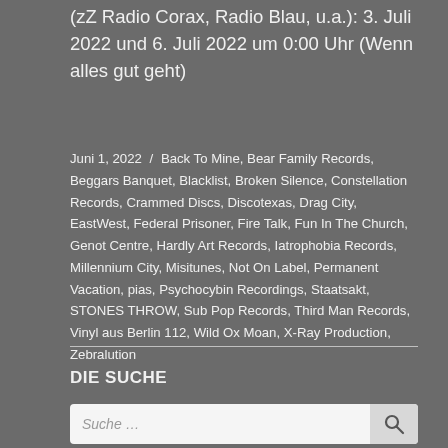(zZ Radio Corax, Radio Blau, u.a.): 3. Juli 2022 und 6. Juli 2022 um 0:00 Uhr (Wenn alles gut geht)
Juni 1, 2022 / Back To Mine, Bear Family Records, Beggars Banquet, Blacklist, Broken Silence, Constellation Records, Crammed Discs, Discotexas, Drag City, EastWest, Federal Prisoner, Fire Talk, Fun In The Church, Genot Centre, Hardly Art Records, Iatrophobia Records, Millennium City, Misitunes, Not On Label, Permanent Vacation, pias, Psychocybin Recordings, Staatsakt, STONES THROW, Sub Pop Records, Third Man Records, Vinyl aus Berlin 112, Wild Ox Moan, X-Ray Production, Zebralution
DIE SUCHE
Suche …